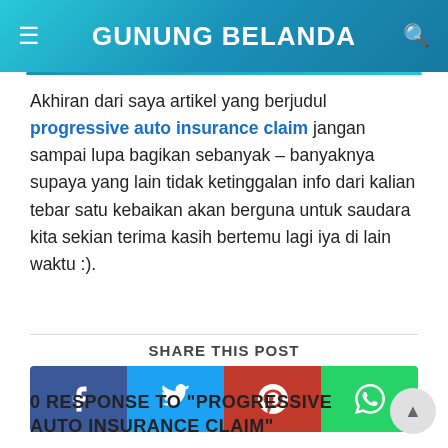GUNUNG BELANDA
Akhiran dari saya artikel yang berjudul progressive auto insurance claim jangan sampai lupa bagikan sebanyak – banyaknya supaya yang lain tidak ketinggalan info dari kalian tebar satu kebaikan akan berguna untuk saudara kita sekian terima kasih bertemu lagi iya di lain waktu :).
SHARE THIS POST
[Figure (other): Social share buttons: Facebook, Twitter, Pinterest, WhatsApp]
0 RESPONSE TO "PROGRESSIVE AUTO INSURANCE CLAIM"